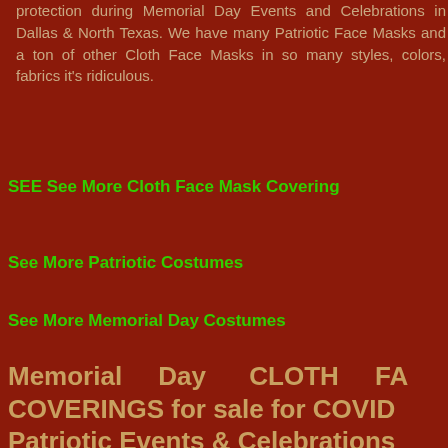protection during Memorial Day Events and Celebrations in Dallas & North Texas. We have many Patriotic Face Masks and a ton of other Cloth Face Masks in so many styles, colors, fabrics it's ridiculous.
SEE See More Cloth Face Mask Coverings
See More Patriotic Costumes
See More Memorial Day Costumes
Memorial Day CLOTH FACE COVERINGS for sale for COVID Patriotic Events & Celebrations
Celebrating Memorial Day Our Local Costume Shop Masks for local business & In...